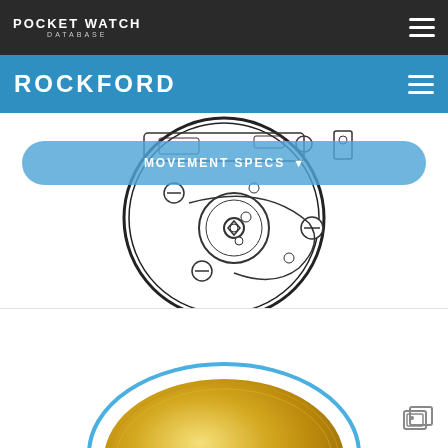POCKET WATCH DATABASE
ROCKFORD
MOVEMENT SPECS
[Figure (illustration): Technical line drawing of a pocket watch movement showing gears, screws, and mechanical components from the back view]
[Figure (photo): Partial photo of a gold pocket watch case, showing the curved edge with blue highlight, at the bottom of the page]